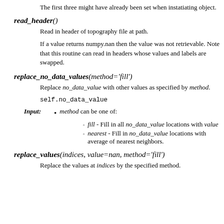The first three might have already been set when instatiating object.
read_header()
Read in header of topography file at path.
If a value returns numpy.nan then the value was not retrievable. Note that this routine can read in headers whose values and labels are swapped.
replace_no_data_values(method='fill')
Replace no_data_value with other values as specified by method.
self.no_data_value
method can be one of:
fill - Fill in all no_data_value locations with value
nearest - Fill in no_data_value locations with average of nearest neighbors.
replace_values(indices, value=nan, method='fill')
Replace the values at indices by the specified method.